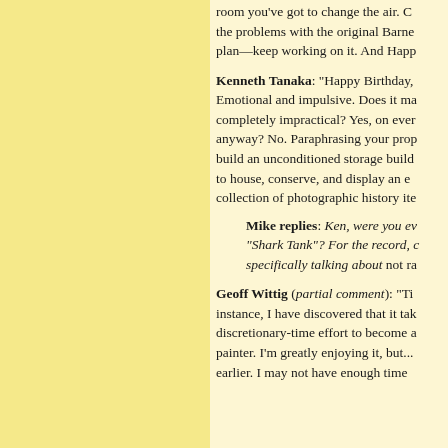room you've got to change the air. C... the problems with the original Barne... plan—keep working on it. And Happ...
Kenneth Tanaka: "Happy Birthday,... Emotional and impulsive. Does it ma... completely impractical? Yes, on ever... anyway? No. Paraphrasing your prop... build an unconditioned storage build... to house, conserve, and display an e... collection of photographic history ite...
Mike replies: Ken, were you ev... "Shark Tank"? For the record, c... specifically talking about not ra...
Geoff Wittig (partial comment): "Ti... instance, I have discovered that it tak... discretionary-time effort to become a... painter. I'm greatly enjoying it, but... earlier. I may not have enough time...